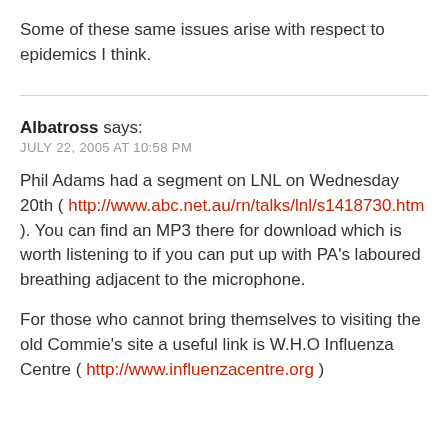Some of these same issues arise with respect to epidemics I think.
Albatross says:
JULY 22, 2005 AT 10:58 PM
Phil Adams had a segment on LNL on Wednesday 20th ( http://www.abc.net.au/rn/talks/lnl/s1418730.htm ). You can find an MP3 there for download which is worth listening to if you can put up with PA's laboured breathing adjacent to the microphone.
For those who cannot bring themselves to visiting the old Commie's site a useful link is W.H.O Influenza Centre ( http://www.influenzacentre.org )